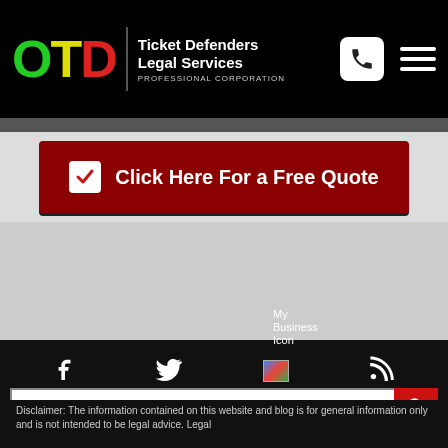[Figure (logo): OTD Ticket Defenders Legal Services Professional Corporation logo with green O, yellow T, red D letters and white text on black header]
[Figure (screenshot): Dark red CTA button with checkbox icon reading Click Here For a Free Quote]
[Figure (screenshot): Footer with social media icons: Facebook, Twitter, Google My Business, RSS feed; search bar and disclaimer text]
Disclaimer: The information contained on this website and blog is for general information only and is not intended to be legal advice. Legal